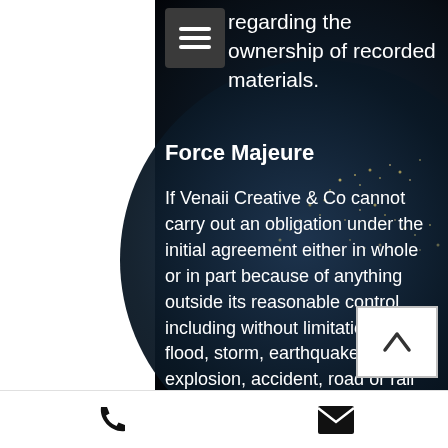regarding the ownership of recorded materials.
Force Majeure
If Venaii Creative & Co cannot carry out an obligation under the initial agreement either in whole or in part because of anything outside its reasonable control, including without limitation, fire, flood, storm, earthquake, explosion, accident, road or rail closures, rail derailment, wharf delays, war, terrorism, sabotage, epidemic, quarantine restriction, labour dispute or shortage, act or omission of any third person or public authority, then Venaii Creative & Co' obligations under the initial agreement will be